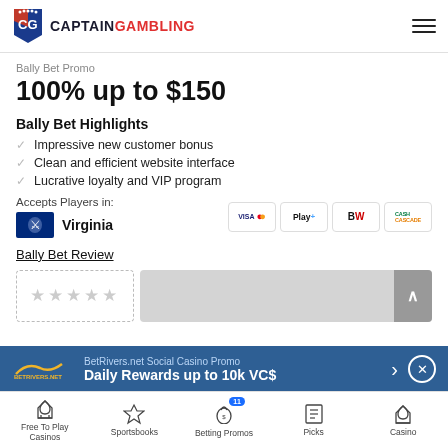CaptainGambling
Bally Bet Promo
100% up to $150
Bally Bet Highlights
Impressive new customer bonus
Clean and efficient website interface
Lucrative loyalty and VIP program
Accepts Players in:
Virginia
Bally Bet Review
[Figure (other): Star rating box with dashed border and gray content bar with scroll button]
BetRivers.net Social Casino Promo
Daily Rewards up to 10k VC$
Free To Play Casinos | Sportsbooks | Betting Promos | Picks | Casino